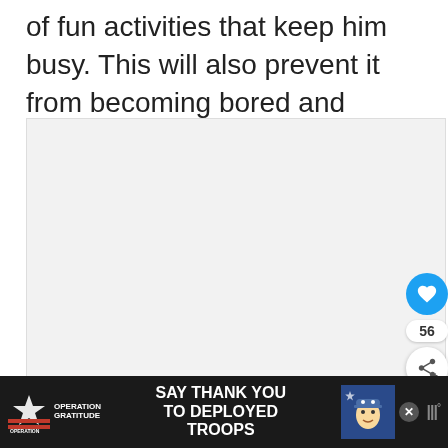of fun activities that keep him busy. This will also prevent it from becoming bored and lonely while you're gone.
[Figure (screenshot): A webpage content area with a light gray background. Contains floating social action buttons on the right: a blue heart/like button with count 56, and a share button. A 'What's Next' card shows a thumbnail image of a dog and the text 'How to Care for Your Dog...' with an arrow. Three dots (pagination) appear near the bottom center.]
[Figure (infographic): Advertisement banner at the bottom with black background. Shows 'Operation Gratitude' logo with stars and stripes. Text reads 'SAY THANK YOU TO DEPLOYED TROOPS'. Has an illustrated character and weather widget on the right.]